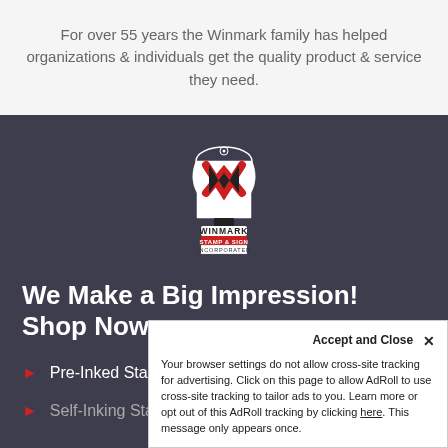For over 55 years the Winmark family has helped organizations & individuals get the quality product & service they need.
[Figure (logo): Winmark Stamp & Sign Incorporated logo — red and black stamp-shaped emblem with stylized W, text WINMARK, STAMP & SIGN, INCORPORATED]
We Make a Big Impression! Shop Now:
Pre-Inked Stamps
Self-Inking Stamps
Accept and Close ✕
Your browser settings do not allow cross-site tracking for advertising. Click on this page to allow AdRoll to use cross-site tracking to tailor ads to you. Learn more or opt out of this AdRoll tracking by clicking here. This message only appears once.